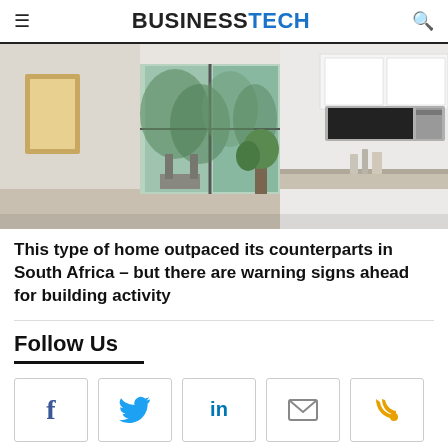BUSINESSTECH
[Figure (photo): Interior photo of a modern apartment/flat showing a living area with large glass sliding doors, dining chairs, a plant, and a white kitchen with over-range microwave on the right side. Bright, airy space with white walls and cabinetry.]
This type of home outpaced its counterparts in South Africa – but there are warning signs ahead for building activity
Follow Us